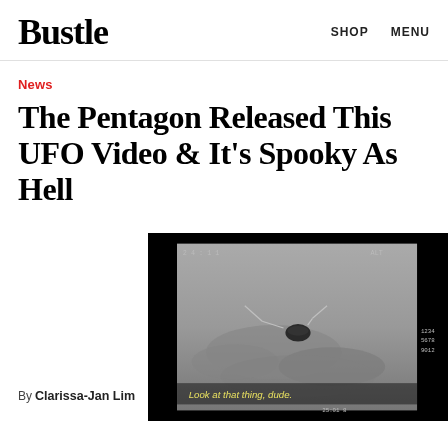Bustle   SHOP   MENU
News
The Pentagon Released This UFO Video & It's Spooky As Hell
[Figure (screenshot): Video still from Pentagon UFO footage showing a dark unidentified aerial object against a grey infrared sky with text caption 'Look at that thing, dude.']
By Clarissa-Jan Lim